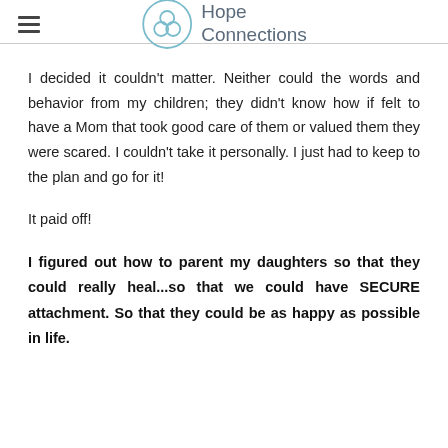Hope Connections
I decided it couldn't matter. Neither could the words and behavior from my children; they didn't know how if felt to have a Mom that took good care of them or valued them they were scared. I couldn't take it personally. I just had to keep to the plan and go for it!
It paid off!
I figured out how to parent my daughters so that they could really heal...so that we could have SECURE attachment. So that they could be as happy as possible in life.